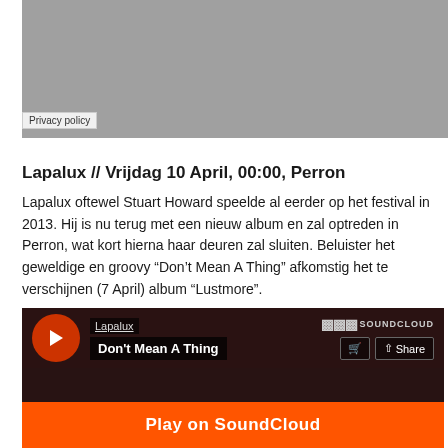[Figure (screenshot): Gray placeholder image/video area at the top]
Privacy policy
Lapalux // Vrijdag 10 April, 00:00, Perron
Lapalux oftewel Stuart Howard speelde al eerder op het festival in 2013. Hij is nu terug met een nieuw album en zal optreden in Perron, wat kort hierna haar deuren zal sluiten. Beluister het geweldige en groovy “Don’t Mean A Thing” afkomstig het te verschijnen (7 April) album “Lustmore”.
[Figure (screenshot): SoundCloud widget showing Lapalux - Don't Mean A Thing with play button, share button, and Play on SoundCloud bar]